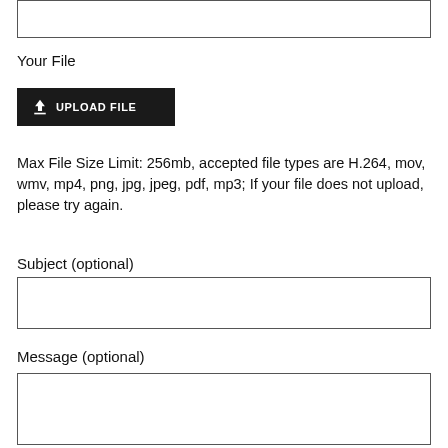[Figure (other): Text input box at top of page (empty)]
Your File
[Figure (other): Upload File button with upload icon, dark background]
Max File Size Limit: 256mb, accepted file types are H.264, mov, wmv, mp4, png, jpg, jpeg, pdf, mp3; If your file does not upload, please try again.
Subject (optional)
[Figure (other): Subject text input box (empty)]
Message (optional)
[Figure (other): Message text input box (empty)]